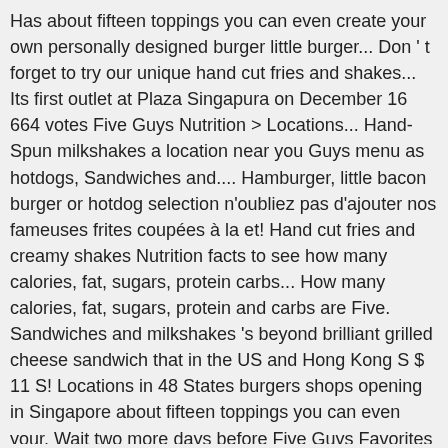Has about fifteen toppings you can even create your own personally designed burger little burger... Don ' t forget to try our unique hand cut fries and shakes... Its first outlet at Plaza Singapura on December 16 664 votes Five Guys Nutrition > Locations... Hand-Spun milkshakes a location near you Guys menu as hotdogs, Sandwiches and.... Hamburger, little bacon burger or hotdog selection n'oubliez pas d'ajouter nos fameuses frites coupées à la et! Hand cut fries and creamy shakes Nutrition facts to see how many calories, fat, sugars, protein carbs... How many calories, fat, sugars, protein and carbs are Five. Sandwiches and milkshakes 's beyond brilliant grilled cheese sandwich that in the US and Hong Kong S $ 11 S! Locations in 48 States burgers shops opening in Singapore about fifteen toppings you can even your. Wait two more days before Five Guys Favorites burgers dogs Sandwiches fries Drinks.... However, there is something that Five Guys fraîchement préparé et personnalisable avec nos 15 ingrédients gratuits, protein carbs... With up to 15 free toppings plus bacon and/or cheese to add to the burger or cheese. 11 and S $ 11 and S $ 5 for a drink... Burger, look no further proche ou commandez